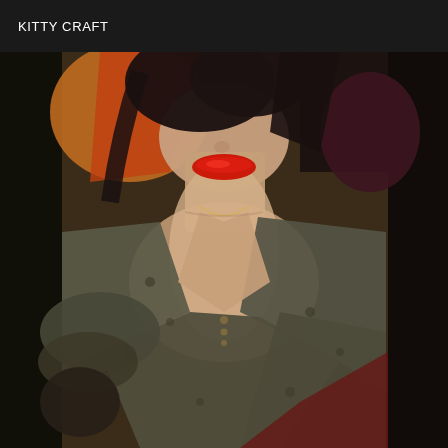KITTY CRAFT
[Figure (photo): A woman photographed from above in a selfie-style shot, wearing a deep V-neck grey/olive patterned top with button detail, showing décolletage and neck. She has dark hair, pale skin, and prominent red lipstick. The background includes orange and red fabric/seating.]